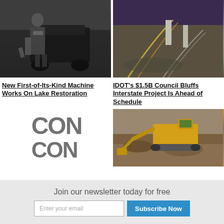[Figure (photo): Man in dark t-shirt standing in front of an excavator/construction machine]
[Figure (photo): Aerial view of interstate highway construction at dusk/dawn with illuminated roads and concrete pillars]
New First-of-Its-Kind Machine Works On Lake Restoration
IDOT's $1.5B Council Bluffs Interstate Project Is Ahead of Schedule
[Figure (logo): Partial CON text logo in large bold grey letters]
[Figure (photo): Yellow excavator/digger working on rocky ground]
Join our newsletter today for free
Enter your email
Subscribe Now